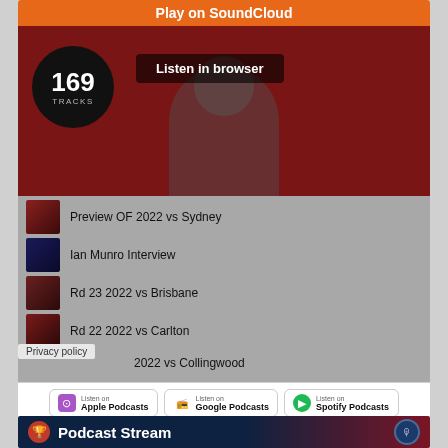Play on SoundCloud
169 TRACKS
Listen in browser
Preview OF 2022 vs Sydney
Ian Munro Interview
Rd 23 2022 vs Brisbane
Rd 22 2022 vs Carlton
Privacy policy
2022 vs Collingwood
Listen on Apple Podcasts
Listen on Google Podcasts
Listen on Spotify Podcasts
Podcast Stream
[Figure (photo): Person in hat sitting in a warmly lit room]